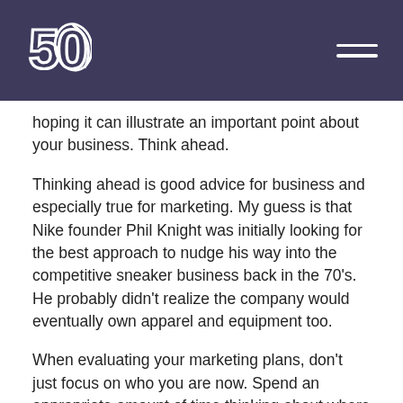50 [logo]
hoping it can illustrate an important point about your business. Think ahead.
Thinking ahead is good advice for business and especially true for marketing. My guess is that Nike founder Phil Knight was initially looking for the best approach to nudge his way into the competitive sneaker business back in the 70's. He probably didn't realize the company would eventually own apparel and equipment too.
When evaluating your marketing plans, don't just focus on who you are now. Spend an appropriate amount of time thinking about where you want to be and